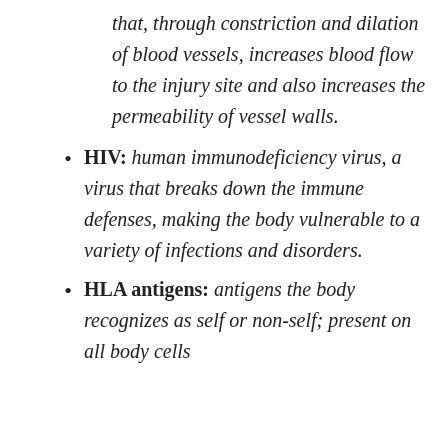that, through constriction and dilation of blood vessels, increases blood flow to the injury site and also increases the permeability of vessel walls.
HIV: human immunodeficiency virus, a virus that breaks down the immune defenses, making the body vulnerable to a variety of infections and disorders.
HLA antigens: antigens the body recognizes as self or non-self; present on all body cells